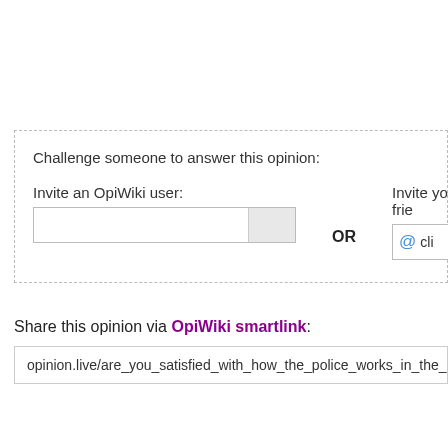Challenge someone to answer this opinion:
Invite an OpiWiki user:
OR
Invite your frie...
Share this opinion via OpiWiki smartlink:
opinion.live/are_you_satisfied_with_how_the_police_works_in_the_u